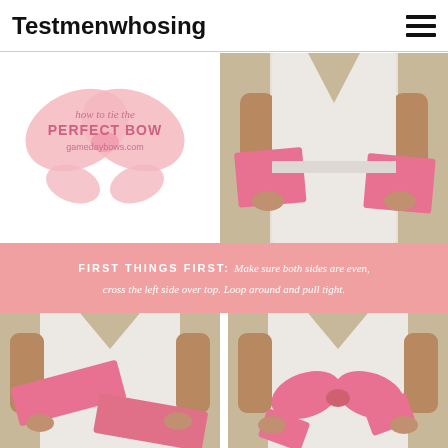Testmenwhosing
[Figure (illustration): Pink bow logo with cursive text 'how to tie the PERFECT BOW gamedaybows.com']
[Figure (photo): Person in white dress holding pink sash ends outward at waist level, step 1 of tying a bow]
[Figure (infographic): Pink banner with text: FIRST THINGS FIRST: Make sure both sides are even, cross the left side over top. Loop around and pull tight.]
[Figure (photo): Person in white dress with pink sash partially tied, step 2 - crossing the sash]
[Figure (photo): Person in white dress with pink sash tied into a bow at the waist, step 3 - finished bow]